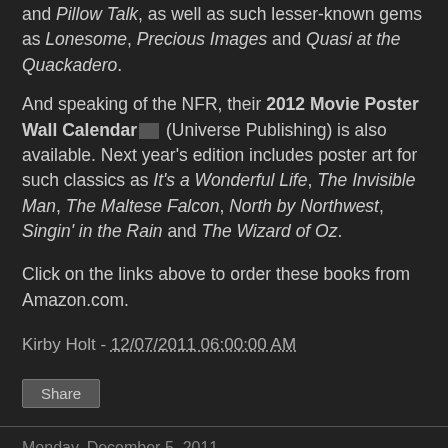and Pillow Talk, as well as such lesser-known gems as Lonesome, Precious Images and Quasi at the Quackadero.
And speaking of the NFR, their 2012 Movie Poster Wall Calendar (Universe Publishing) is also available. Next year's edition includes poster art for such classics as It's a Wonderful Life, The Invisible Man, The Maltese Falcon, North by Northwest, Singin' in the Rain and The Wizard of Oz.
Click on the links above to order these books from Amazon.com.
Kirby Holt - 12/07/2011 06:00:00 AM
Share
Monday, December 5, 2011
Reel Thoughts Interview: Dreaming of a White Christmas